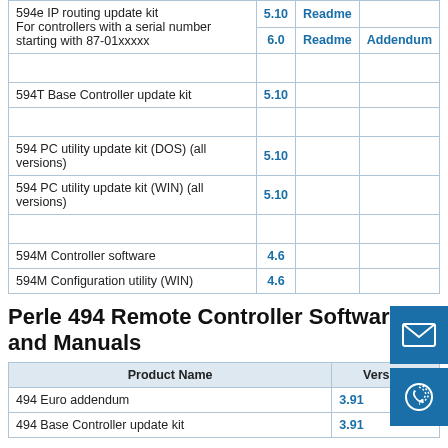| Product Name | Version | Readme | Addendum |
| --- | --- | --- | --- |
| 594e IP routing update kit
For controllers with a serial number starting with 87-01xxxxx | 5.10 | Readme |  |
|  | 6.0 | Readme | Addendum |
|  |  |  |  |
| 594T Base Controller update kit | 5.10 |  |  |
|  |  |  |  |
| 594 PC utility update kit (DOS) (all versions) | 5.10 |  |  |
| 594 PC utility update kit (WIN) (all versions) | 5.10 |  |  |
|  |  |  |  |
| 594M Controller software | 4.6 |  |  |
| 594M Configuration utility (WIN) | 4.6 |  |  |
Perle 494 Remote Controller Software and Manuals
| Product Name | Version |
| --- | --- |
| 494 Euro addendum | 3.91 |
| 494 Base Controller update kit | 3.91 |